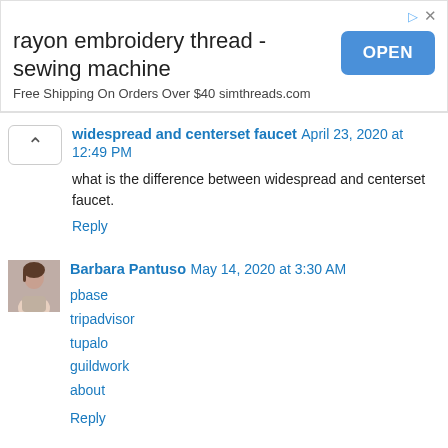[Figure (other): Advertisement banner: 'rayon embroidery thread - sewing machine' with OPEN button and subtitle 'Free Shipping On Orders Over $40 simthreads.com']
widespread and centerset faucet April 23, 2020 at 12:49 PM
what is the difference between widespread and centerset faucet.
Reply
Barbara Pantuso May 14, 2020 at 3:30 AM
pbase
tripadvisor
tupalo
guildwork
about
Reply